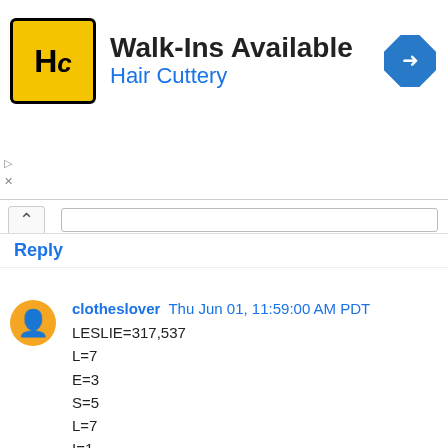[Figure (logo): Hair Cuttery advertisement banner with HC logo, 'Walk-Ins Available' heading, 'Hair Cuttery' subheading in blue, and a blue navigation arrow icon]
Reply
clotheslover  Thu Jun 01, 11:59:00 AM PDT
LESLIE=317,537
L=7
E=3
S=5
L=7
I=1
E=3
My clue about Diana Ross points to her song "Upside Down". In order to solve this puzzle the letters need to be turned upside down, then flipped backwards. The letters have been given a numerical value based on alphabetical likeness, then written down backwards.